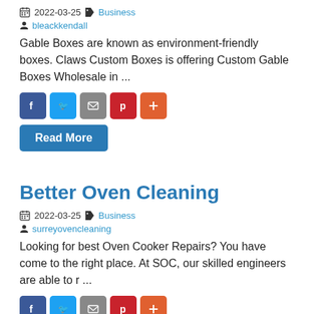2022-03-25  Business
bleackkendall
Gable Boxes are known as environment-friendly boxes. Claws Custom Boxes is offering Custom Gable Boxes Wholesale in ...
[Figure (other): Social share buttons: Facebook, Twitter, Email, Pinterest, Plus]
Read More
Better Oven Cleaning
2022-03-25  Business
surreyovencleaning
Looking for best Oven Cooker Repairs? You have come to the right place. At SOC, our skilled engineers are able to r ...
[Figure (other): Social share buttons: Facebook, Twitter, Email, Pinterest, Plus]